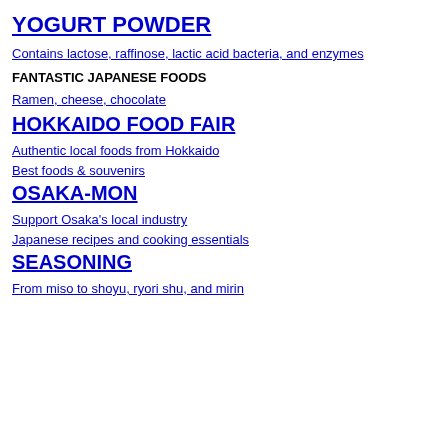YOGURT POWDER
Contains lactose, raffinose, lactic acid bacteria, and enzymes
FANTASTIC JAPANESE FOODS
Ramen, cheese, chocolate
HOKKAIDO FOOD FAIR
Authentic local foods from Hokkaido
Best foods & souvenirs
OSAKA-MON
Support Osaka's local industry
Japanese recipes and cooking essentials
SEASONING
From miso to shoyu, ryori shu, and mirin